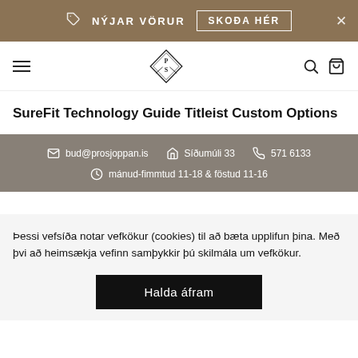NÝJAR VÖRUR  SKOÐA HÉR
Navigation bar with logo, hamburger menu, search and cart icons
SureFit Technology Guide Titleist Custom Options
bud@prosjoppan.is  Síðumúli 33  571 6133  mánud-fimmtud 11-18 & föstud 11-16
Þessi vefsíða notar vefkökur (cookies) til að bæta upplifun þina. Með þvi að heimsækja vefinn samþykkir þú skilmála um vefkökur.
Halda áfram